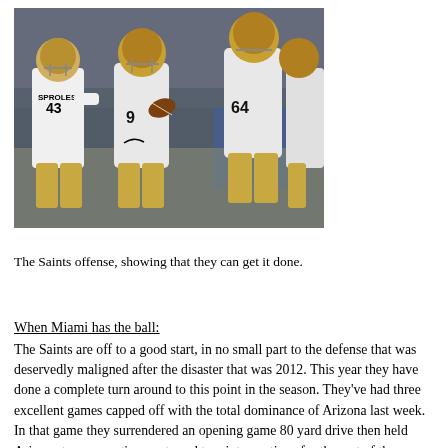[Figure (photo): New Orleans Saints players on the field; player #43 SPROLES visible on left, quarterback in center holding football, player #64 visible on right, all in white Saints uniforms.]
The Saints offense, showing that they can get it done.
When Miami has the ball:
The Saints are off to a good start, in no small part to the defense that was deservedly maligned after the disaster that was 2012. This year they have done a complete turn around to this point in the season. They've had three excellent games capped off with the total dominance of Arizona last week. In that game they surrendered an opening game 80 yard drive then held Arizona to consecutive punts and two interceptions for the rest of the game.